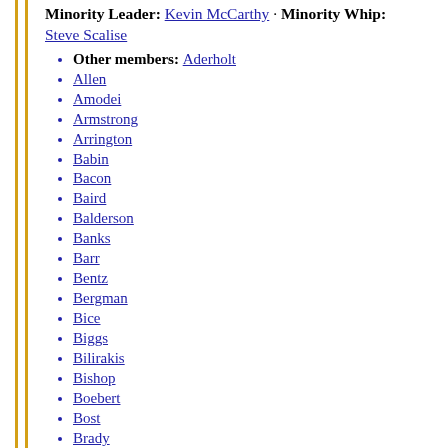Minority Leader: Kevin McCarthy · Minority Whip: Steve Scalise
Other members: Aderholt
Allen
Amodei
Armstrong
Arrington
Babin
Bacon
Baird
Balderson
Banks
Barr
Bentz
Bergman
Bice
Biggs
Bilirakis
Bishop
Boebert
Bost
Brady
Brooks
Buchanan
Buck